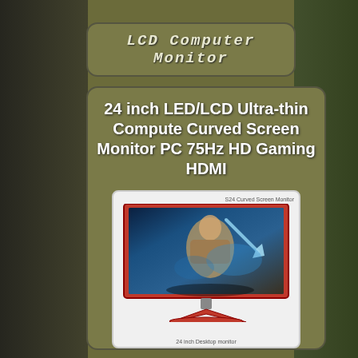LCD Computer Monitor
24 inch LED/LCD Ultra-thin Compute Curved Screen Monitor PC 75Hz HD Gaming HDMI
[Figure (photo): Product image of a 24-inch curved gaming monitor with red stand, showing a gaming scene on screen. Labeled '24 Curved Screen Monitor' at top and '24 inch Desktop monitor' at bottom.]